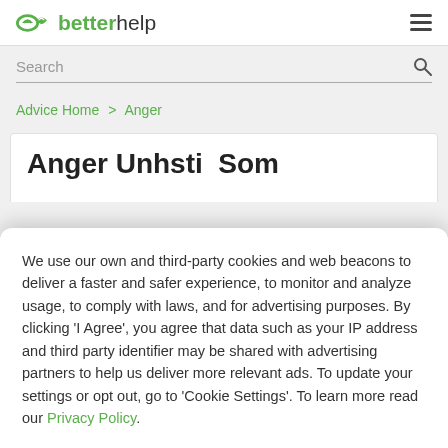betterhelp
Search
Advice Home > Anger
Anger Unhe...
We use our own and third-party cookies and web beacons to deliver a faster and safer experience, to monitor and analyze usage, to comply with laws, and for advertising purposes. By clicking 'I Agree', you agree that data such as your IP address and third party identifier may be shared with advertising partners to help us deliver more relevant ads. To update your settings or opt out, go to 'Cookie Settings'. To learn more read our Privacy Policy.
Cookie Settings
I Agree